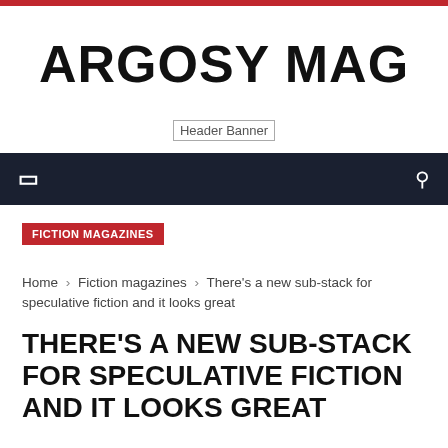ARGOSY MAG
[Figure (other): Header Banner placeholder image]
Home › Fiction magazines › There's a new sub-stack for speculative fiction and it looks great
FICTION MAGAZINES
THERE'S A NEW SUB-STACK FOR SPECULATIVE FICTION AND IT LOOKS GREAT